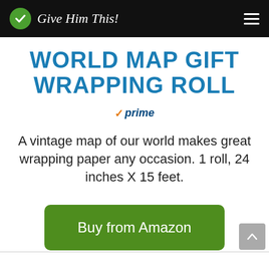Give Him This!
WORLD MAP GIFT WRAPPING ROLL
✓prime
A vintage map of our world makes great wrapping paper any occasion. 1 roll, 24 inches X 15 feet.
Buy from Amazon